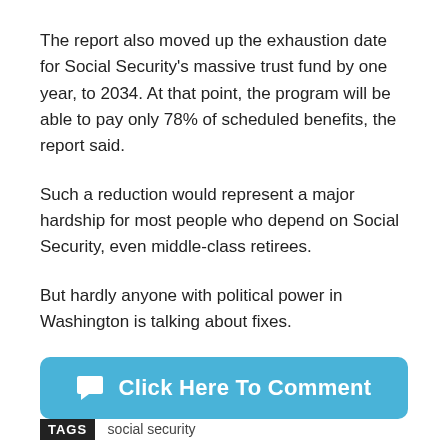The report also moved up the exhaustion date for Social Security's massive trust fund by one year, to 2034. At that point, the program will be able to pay only 78% of scheduled benefits, the report said.
Such a reduction would represent a major hardship for most people who depend on Social Security, even middle-class retirees.
But hardly anyone with political power in Washington is talking about fixes.
Click Here To Comment
TAGS   social security